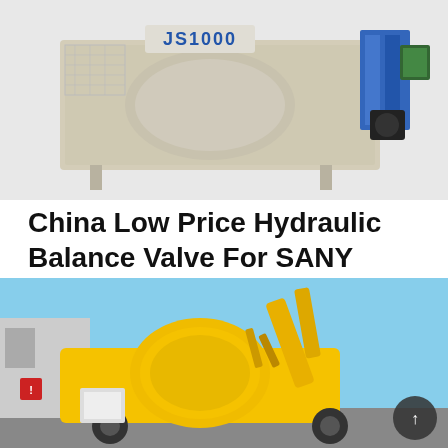[Figure (photo): JS1000 concrete mixer machine, beige/cream colored industrial equipment with blue text label JS1000, mounted on a frame with metal grating, set against a light gray background]
China Low Price Hydraulic Balance Valve For SANY Trucks
How Does A Concrete Pump Truck Work? Learn How Concrete
Learn More
[Figure (photo): Yellow concrete mixer truck/mobile concrete mixing equipment photographed outdoors against a blue sky, with visible drum, chute, and control panel]